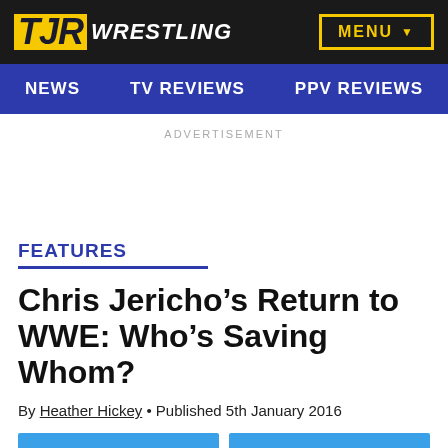TJR WRESTLING
MENU
NEWS  TV REVIEWS  PPV REVIEWS
ADVERTISEMENT
FEATURES
Chris Jericho’s Return to WWE: Who’s Saving Whom?
By Heather Hickey • Published 5th January 2016